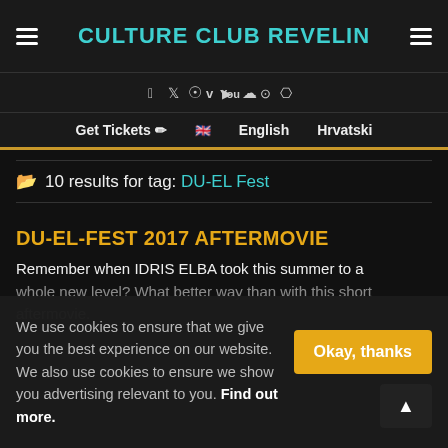CULTURE CLUB REVELIN
Get Tickets  English  Hrvatski
10 results for tag: DU-EL Fest
DU-EL-FEST 2017 AFTERMOVIE
Remember when IDRIS ELBA took this summer to a whole new level? What better way than with this short aftermovie.
We use cookies to ensure that we give you the best experience on our website. We also use cookies to ensure we show you advertising relevant to you. Find out more.